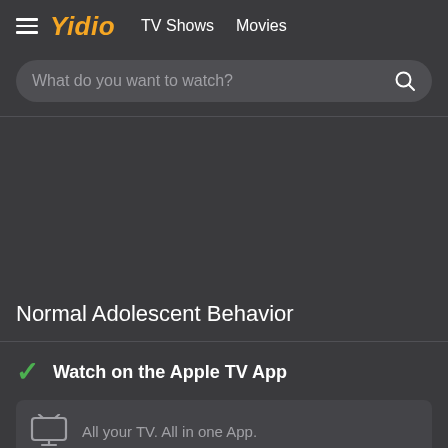Yidio  TV Shows  Movies
What do you want to watch?
Normal Adolescent Behavior
✓ Watch on the Apple TV App
All your TV. All in one App.